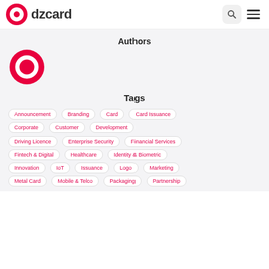dzcard
Authors
[Figure (logo): DZCard circular logo icon in red/pink]
Tags
Announcement
Branding
Card
Card Issuance
Corporate
Customer
Development
Driving Licence
Enterprise Security
Financial Services
Fintech & Digital
Healthcare
Identity & Biometric
Innovation
IoT
Issuance
Logo
Marketing
Metal Card
Mobile & Telco
Packaging
Partnership